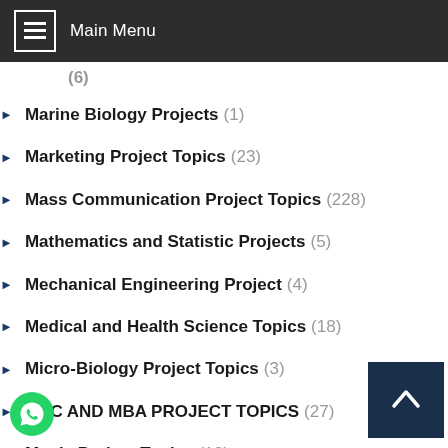Main Menu
(6)
Marine Biology Projects (1)
Marketing Project Topics (23)
Mass Communication Project Topics (228)
Mathematics and Statistic Projects (5)
Mechanical Engineering Project (4)
Medical and Health Science Topics (18)
Micro-Biology Project Topics (3)
MSC AND MBA PROJECT TOPICS (27)
Music Project Topics (10)
Nursing Project Topics (6)